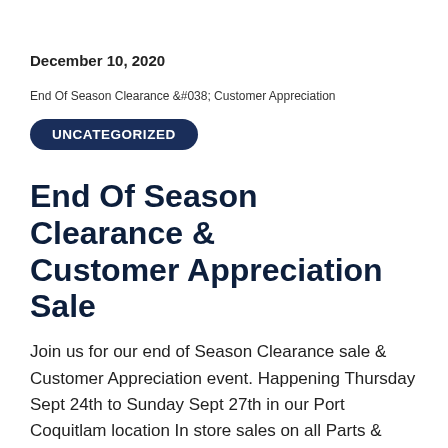December 10, 2020
[Figure (other): Broken image placeholder: End Of Season Clearance & Customer Appreciation Sale image with UNCATEGORIZED badge overlay]
End Of Season Clearance & Customer Appreciation Sale
Join us for our end of Season Clearance sale & Customer Appreciation event. Happening Thursday Sept 24th to Sunday Sept 27th in our Port Coquitlam location In store sales on all Parts & Accessories, 40% off tiresUp to a $1000 in- store credit with a purchase of a motorcycle, atv or Side by sideRebates on all new Kingfisher & Hewescraft Boats as well as great deals on in stock Zodiac, Highfield, G3 & Pacific Wave boats